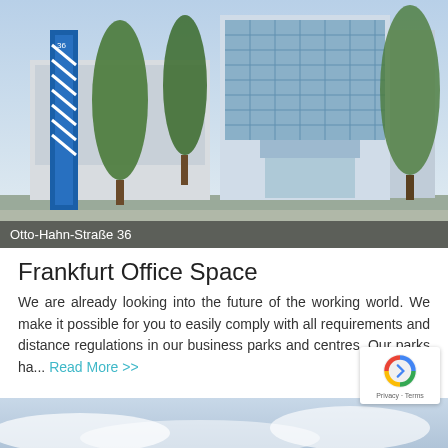[Figure (photo): Modern office building exterior at Otto-Hahn-Straße 36, featuring a multi-story glass-and-steel facade with blue accents, trees in foreground, and a blue corporate signage tower on the left.]
Otto-Hahn-Straße 36
Frankfurt Office Space
We are already looking into the future of the working world. We make it possible for you to easily comply with all requirements and distance regulations in our business parks and centres. Our parks ha... Read More >>
[Figure (photo): Partial view of a sky with clouds at the bottom of the page.]